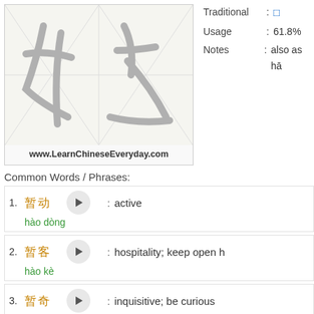[Figure (illustration): Chinese character stroke order diagram showing the character for 好 (hào/hǎo) in two stroke stages on a grid background with diagonal guidelines, with website URL below]
Traditional : □
Usage : 61.8%
Notes : also as hā
Common Words / Phrases:
1. 好动  hào dòng  :  active
2. 好客  hào kè  :  hospitality; keep open h
3. 好奇  hào qí  :  inquisitive; be curious
4. 好色  hào sè  :  lubricious; have special
5. 好奇心  :  curiosity